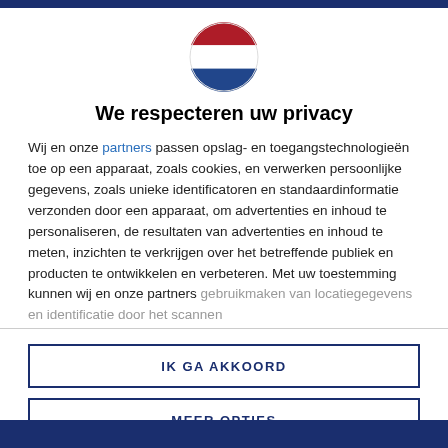[Figure (illustration): Dutch flag circle icon — red on top, white in middle, blue on bottom]
We respecteren uw privacy
Wij en onze partners passen opslag- en toegangstechnologieën toe op een apparaat, zoals cookies, en verwerken persoonlijke gegevens, zoals unieke identificatoren en standaardinformatie verzonden door een apparaat, om advertenties en inhoud te personaliseren, de resultaten van advertenties en inhoud te meten, inzichten te verkrijgen over het betreffende publiek en producten te ontwikkelen en verbeteren. Met uw toestemming kunnen wij en onze partners gebruikmaken van locatiegegevens en identificatie door het scannen
IK GA AKKOORD
MEER OPTIES